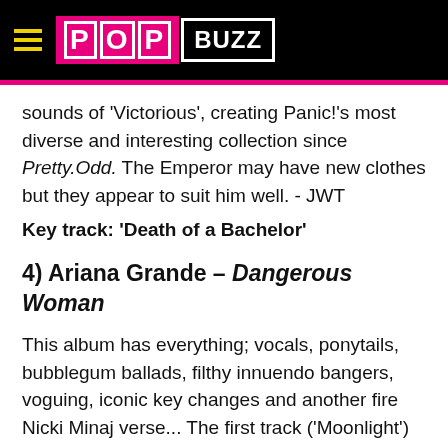POPBUZZ
sounds of 'Victorious', creating Panic!'s most diverse and interesting collection since Pretty.Odd. The Emperor may have new clothes but they appear to suit him well. - JWT
Key track: 'Death of a Bachelor'
4) Ariana Grande – Dangerous Woman
This album has everything; vocals, ponytails, bubblegum ballads, filthy innuendo bangers, voguing, iconic key changes and another fire Nicki Minaj verse... The first track ('Moonlight') almost lulls you into a false sense of security with its soft waltzing ascent before throwing you head first into Ariana's steamy sex dungeon on track two